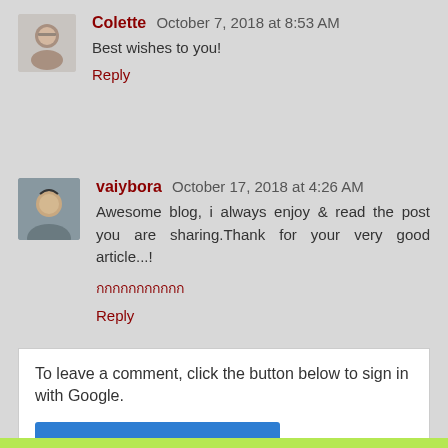Colette  October 7, 2018 at 8:53 AM
Best wishes to you!
Reply
vaiybora  October 17, 2018 at 4:26 AM
Awesome blog, i always enjoy & read the post you are sharing.Thank for your very good article...!
กกกกกกกกกกก
Reply
To leave a comment, click the button below to sign in with Google.
SIGN IN WITH GOOGLE